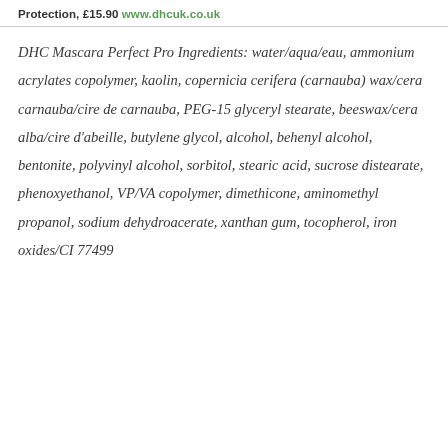Protection, £15.90 www.dhcuk.co.uk
DHC Mascara Perfect Pro Ingredients: water/aqua/eau, ammonium acrylates copolymer, kaolin, copernicia cerifera (carnauba) wax/cera carnauba/cire de carnauba, PEG-15 glyceryl stearate, beeswax/cera alba/cire d'abeille, butylene glycol, alcohol, behenyl alcohol, bentonite, polyvinyl alcohol, sorbitol, stearic acid, sucrose distearate, phenoxyethanol, VP/VA copolymer, dimethicone, aminomethyl propanol, sodium dehydroacerate, xanthan gum, tocopherol, iron oxides/CI 77499